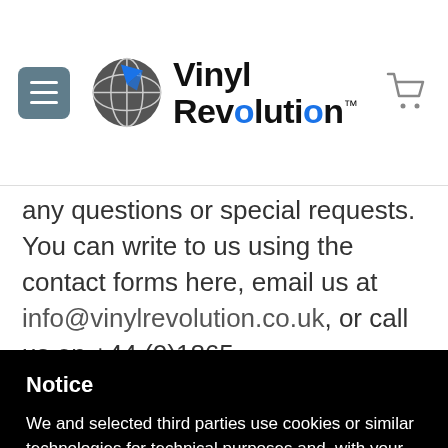[Figure (logo): Vinyl Revolution logo with globe icon and bold text]
any questions or special requests. You can write to us using the contact forms here, email us at info@vinylrevolution.co.uk, or call us on +44 (0)1865
Notice
We and selected third parties use cookies or similar technologies for technical purposes and, with your consent, for other purposes as specified in the cookie policy. Denying consent may make related features unavailable.
Reject
Accept
Learn more and customize